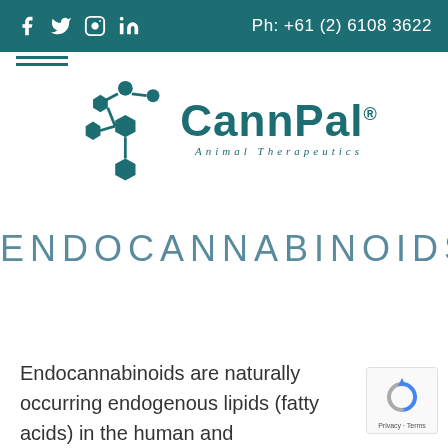Ph: +61 (2) 6108 3622
[Figure (logo): CannPal Animal Therapeutics logo with molecular structure icon in teal]
ENDOCANNABINOIDS
Endocannabinoids are naturally occurring endogenous lipids (fatty acids) in the human and